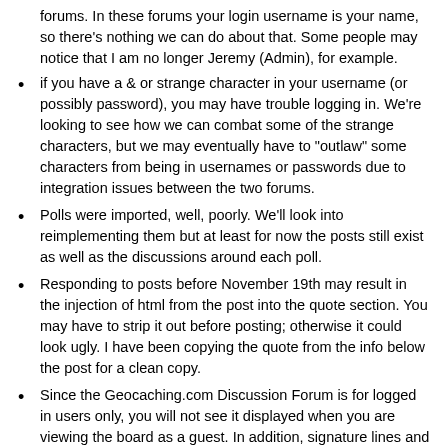forums. In these forums your login username is your name, so there's nothing we can do about that. Some people may notice that I am no longer Jeremy (Admin), for example.
if you have a & or strange character in your username (or possibly password), you may have trouble logging in. We're looking to see how we can combat some of the strange characters, but we may eventually have to "outlaw" some characters from being in usernames or passwords due to integration issues between the two forums.
Polls were imported, well, poorly. We'll look into reimplementing them but at least for now the posts still exist as well as the discussions around each poll.
Responding to posts before November 19th may result in the injection of html from the post into the quote section. You may have to strip it out before posting; otherwise it could look ugly. I have been copying the quote from the info below the post for a clean copy.
Since the Geocaching.com Discussion Forum is for logged in users only, you will not see it displayed when you are viewing the board as a guest. In addition, signature lines and Avatar images will not display for guests. If you wish to see them, log in. The cookies in the new forums keep you logged in for quite a while